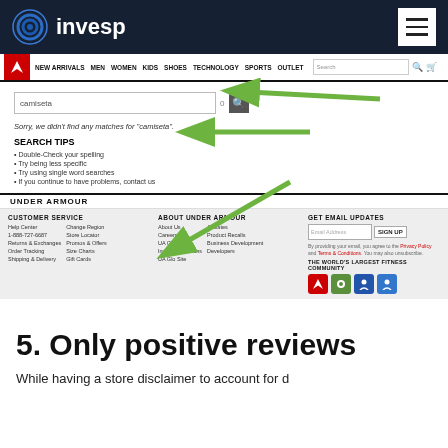invesp
[Figure (screenshot): Screenshot of Under Armour website showing a 'no results' search page for the term 'camiseta', with search tips section and website footer. Three green arrows point to: the search box, the SEARCH TIPS heading, and the CUSTOMER SERVICE section in the footer.]
5. Only positive reviews
While having a store disclaimer to account for d